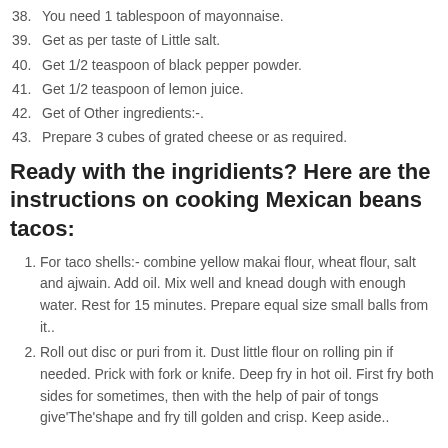38. You need 1 tablespoon of mayonnaise.
39. Get as per taste of Little salt.
40. Get 1/2 teaspoon of black pepper powder.
41. Get 1/2 teaspoon of lemon juice.
42. Get of Other ingredients:-.
43. Prepare 3 cubes of grated cheese or as required.
Ready with the ingridients? Here are the instructions on cooking Mexican beans tacos:
1. For taco shells:- combine yellow makai flour, wheat flour, salt and ajwain. Add oil. Mix well and knead dough with enough water. Rest for 15 minutes. Prepare equal size small balls from it..
2. Roll out disc or puri from it. Dust little flour on rolling pin if needed. Prick with fork or knife. Deep fry in hot oil. First fry both sides for sometimes, then with the help of pair of tongs give'The'shape and fry till golden and crisp. Keep aside..